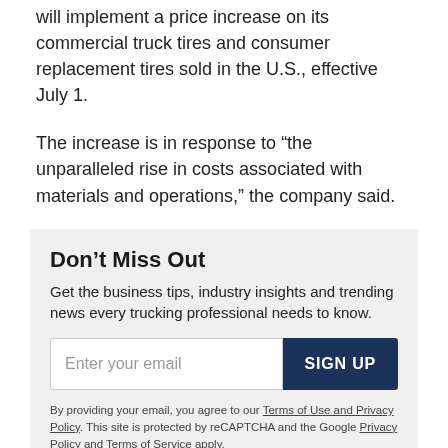will implement a price increase on its commercial truck tires and consumer replacement tires sold in the U.S., effective July 1.
The increase is in response to “the unparalleled rise in costs associated with materials and operations,” the company said.
Don’t Miss Out
Get the business tips, industry insights and trending news every trucking professional needs to know.
Enter your email
SIGN UP
By providing your email, you agree to our Terms of Use and Privacy Policy. This site is protected by reCAPTCHA and the Google Privacy Policy and Terms of Service apply.